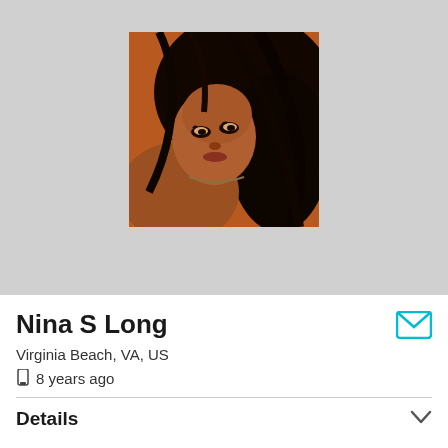[Figure (photo): Profile photo of a woman with dark curly hair lying down, warm orange/brown tones in background]
Nina S Long
Virginia Beach, VA, US
8 years ago
Details